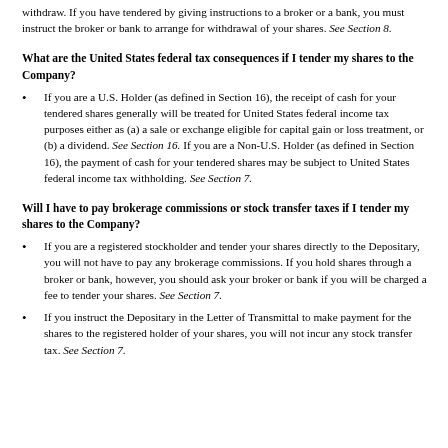withdraw. If you have tendered by giving instructions to a broker or a bank, you must instruct the broker or bank to arrange for withdrawal of your shares. See Section 8.
What are the United States federal tax consequences if I tender my shares to the Company?
If you are a U.S. Holder (as defined in Section 16), the receipt of cash for your tendered shares generally will be treated for United States federal income tax purposes either as (a) a sale or exchange eligible for capital gain or loss treatment, or (b) a dividend. See Section 16. If you are a Non-U.S. Holder (as defined in Section 16), the payment of cash for your tendered shares may be subject to United States federal income tax withholding. See Section 7.
Will I have to pay brokerage commissions or stock transfer taxes if I tender my shares to the Company?
If you are a registered stockholder and tender your shares directly to the Depositary, you will not have to pay any brokerage commissions. If you hold shares through a broker or bank, however, you should ask your broker or bank if you will be charged a fee to tender your shares. See Section 7.
If you instruct the Depositary in the Letter of Transmittal to make payment for the shares to the registered holder of your shares, you will not incur any stock transfer tax. See Section 7.